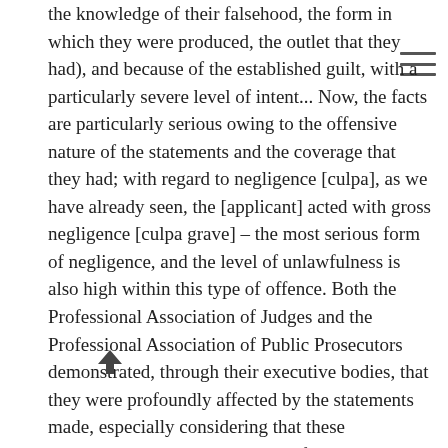the knowledge of their falsehood, the form in which they were produced, the outlet that they had), and because of the established guilt, with a particularly severe level of intent... Now, the facts are particularly serious owing to the offensive nature of the statements and the coverage that they had; with regard to negligence [culpa], as we have already seen, the [applicant] acted with gross negligence [culpa grave] – the most serious form of negligence, and the level of unlawfulness is also high within this type of offence. Both the Professional Association of Judges and the Professional Association of Public Prosecutors demonstrated, through their executive bodies, that they were profoundly affected by the statements made, especially considering that these associations are representatives of prosecutors and judges in their socio-professional field, striving for the protection of the values connected to professional and ethical conduct, such as independence, immunity and